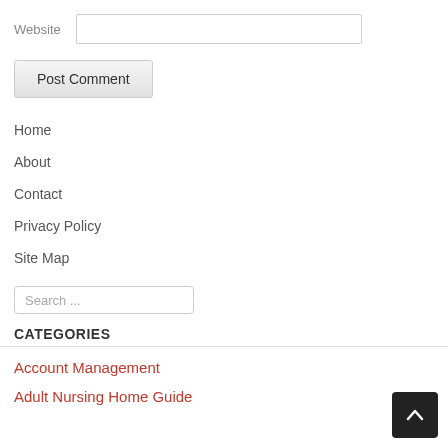Website
Post Comment
Home
About
Contact
Privacy Policy
Site Map
Search ...
CATEGORIES
Account Management
Adult Nursing Home Guide